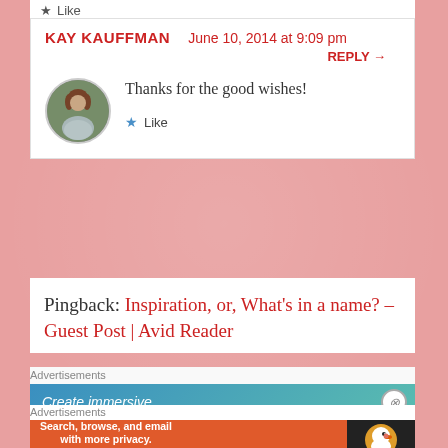★ Like
KAY KAUFFMAN   June 10, 2014 at 9:09 pm
REPLY →
Thanks for the good wishes!
★ Like
Pingback: Inspiration, or, What's in a name? – Guest Post | Avid Reader
Advertisements
[Figure (screenshot): Blue-green gradient ad banner with text 'Create immersive' and a close button]
Advertisements
[Figure (screenshot): DuckDuckGo advertisement banner: 'Search, browse, and email with more privacy. All in One Free App' with DuckDuckGo logo on black background]